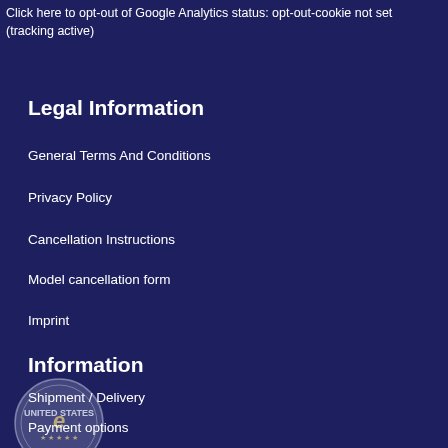Click here to opt-out of Google Analytics status: opt-out-cookie not set (tracking active)
Legal Information
General Terms And Conditions
Privacy Policy
Cancellation Instructions
Model cancellation form
Imprint
Information
[Figure (logo): Circular seal/badge with United States branding and a stylized 'e' letter in the center, with stars at the bottom]
Shipment / Delivery
Payment options
Sitemap